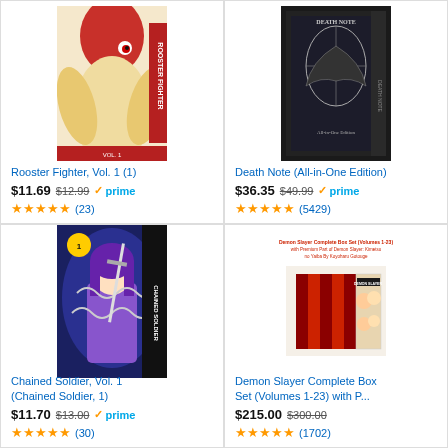[Figure (photo): Book cover of Rooster Fighter Vol. 1 showing a rooster with red feathers]
Rooster Fighter, Vol. 1 (1)
$11.69 $12.99 prime (23)
[Figure (photo): Book cover of Death Note All-in-One Edition, black/dark box set]
Death Note (All-in-One Edition)
$36.35 $49.99 prime (5429)
[Figure (photo): Book cover of Chained Soldier Vol. 1 showing anime character with chains]
Chained Soldier, Vol. 1 (Chained Soldier, 1)
$11.70 $13.00 prime (30)
[Figure (photo): Demon Slayer Complete Box Set box showing characters]
Demon Slayer Complete Box Set (Volumes 1-23) with P...
$215.00 $300.00 (1702)